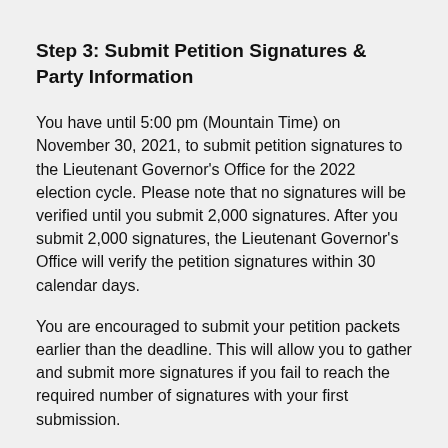Step 3: Submit Petition Signatures & Party Information
You have until 5:00 pm (Mountain Time) on November 30, 2021, to submit petition signatures to the Lieutenant Governor's Office for the 2022 election cycle. Please note that no signatures will be verified until you submit 2,000 signatures. After you submit 2,000 signatures, the Lieutenant Governor's Office will verify the petition signatures within 30 calendar days.
You are encouraged to submit your petition packets earlier than the deadline. This will allow you to gather and submit more signatures if you fail to reach the required number of signatures with your first submission.
In addition to submitting petition signatures, you